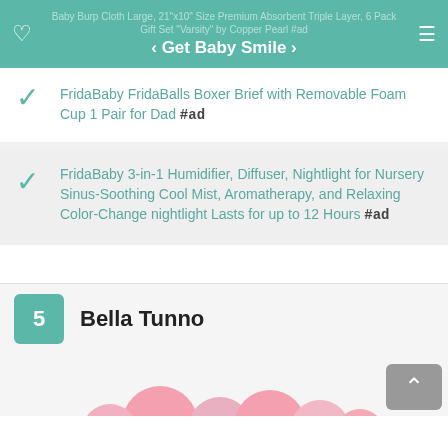< Get Baby Smile > | Baby Burp Cloth Large, 21"x10" Size Premium Absorbent Triple Layer, 6 Pack Gift Set "Varsity" by Copper Pearl #ad
FridaBaby FridaBalls Boxer Brief with Removable Foam Cup 1 Pair for Dad #ad
FridaBaby 3-in-1 Humidifier, Diffuser, Nightlight for Nursery Sinus-Soothing Cool Mist, Aromatherapy, and Relaxing Color-Change nightlight Lasts for up to 12 Hours #ad
5  Bella Tunno
[Figure (photo): Pink bubble/ball toys partially visible at the bottom of the page]